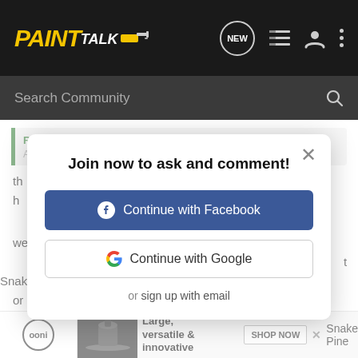[Figure (screenshot): PaintTalk community website header with logo and navigation icons]
[Figure (screenshot): Search Community search bar]
Redux said: ↑
Although challenger material.......continuing the
[Figure (screenshot): Modal dialog: Join now to ask and comment! with Continue with Facebook and Continue with Google buttons, and or sign up with email link]
th
h
we don't t Snake or Pine
[Figure (screenshot): Advertisement banner for ooni: Large, versatile & innovative. SHOP NOW button.]